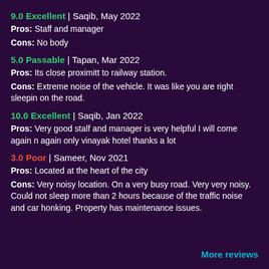9.0 Excellent | Saqib, May 2022
Pros: Staff and manager
Cons: No body
5.0 Passable | Tapan, Mar 2022
Pros: Its close proximitt to railway station.
Cons: Extreme noise of the vehicle. It was like you are right sleepin on the road.
10.0 Excellent | Saqib, Jan 2022
Pros: Very good stalf and manager is very helpful I will come again n again only vinayak hotel thanks a lot
3.0 Poor | Sameer, Nov 2021
Pros: Located at the heart of the city
Cons: Very noisy location. On a very busy road. Very very noisy. Could not sleep more than 2 hours because of the traffic noise and car honking. Property has maintenance issues.
More reviews